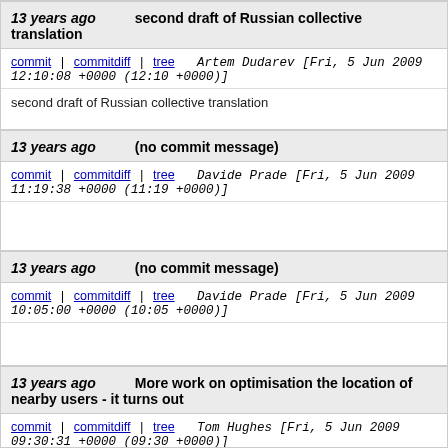13 years ago   second draft of Russian collective translation
commit | commitdiff | tree   Artem Dudarev [Fri, 5 Jun 2009 12:10:08 +0000 (12:10 +0000)]
second draft of Russian collective translation
13 years ago   (no commit message)
commit | commitdiff | tree   Davide Prade [Fri, 5 Jun 2009 11:19:38 +0000 (11:19 +0000)]
13 years ago   (no commit message)
commit | commitdiff | tree   Davide Prade [Fri, 5 Jun 2009 10:05:00 +0000 (10:05 +0000)]
13 years ago   More work on optimisation the location of nearby users - it turns out
commit | commitdiff | tree   Tom Hughes [Fri, 5 Jun 2009 09:30:31 +0000 (09:30 +0000)]